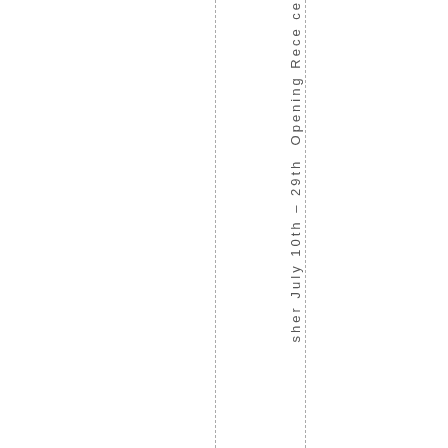sher July 10th – 29th  Opening Rece ce